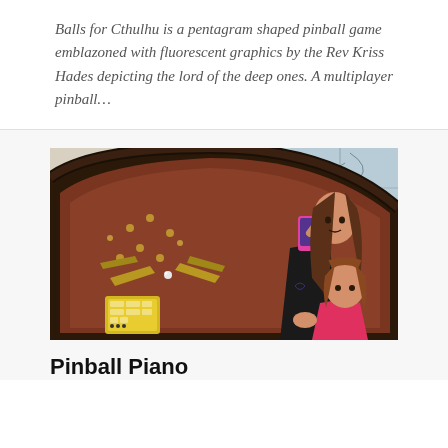Balls for Cthulhu is a pentagram shaped pinball game emblazoned with fluorescent graphics by the Rev Kriss Hades depicting the lord of the deep ones. A multiplayer pinball…
[Figure (photo): Overhead/angled photo of a dark pentagram-shaped pinball machine with copper/brown tones and gold bumpers. A woman with long brown hair holds a pink phone and looks down at the machine, while a young girl with reddish-brown hair in a pink shirt also looks at it. There is a yellow scoring panel visible on the machine. The background shows glass windows.]
Pinball Piano